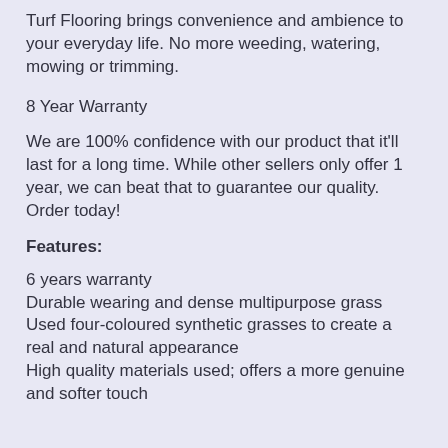Turf Flooring brings convenience and ambience to your everyday life. No more weeding, watering, mowing or trimming.
8 Year Warranty
We are 100% confidence with our product that it'll last for a long time. While other sellers only offer 1 year, we can beat that to guarantee our quality. Order today!
Features:
6 years warranty
Durable wearing and dense multipurpose grass
Used four-coloured synthetic grasses to create a real and natural appearance
High quality materials used; offers a more genuine and softer touch